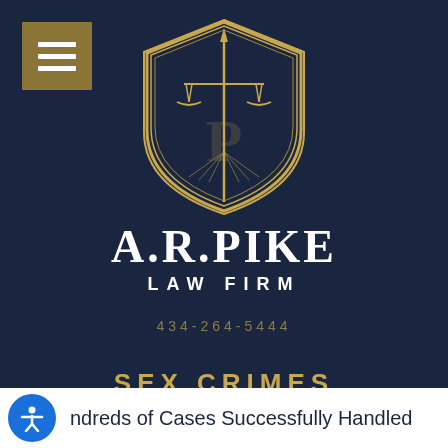[Figure (logo): A.R. Pike Law Firm logo: gold shield with scales of justice and a lance, with the letter P]
A.R.PIKE
LAW FIRM
434-264-5444
SEX CRIMES
Hundreds of Cases Successfully Handled